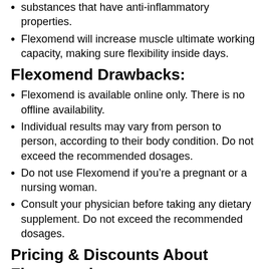substances that have anti-inflammatory properties.
Flexomend will increase muscle ultimate working capacity, making sure flexibility inside days.
Flexomend Drawbacks:
Flexomend is available online only. There is no offline availability.
Individual results may vary from person to person, according to their body condition. Do not exceed the recommended dosages.
Do not use Flexomend if you’re a pregnant or a nursing woman.
Consult your physician before taking any dietary supplement. Do not exceed the recommended dosages.
Pricing & Discounts About Flexomend:
Flexomend is provided at a low and discounted price, particularly when shopping for a pack of three or 6…